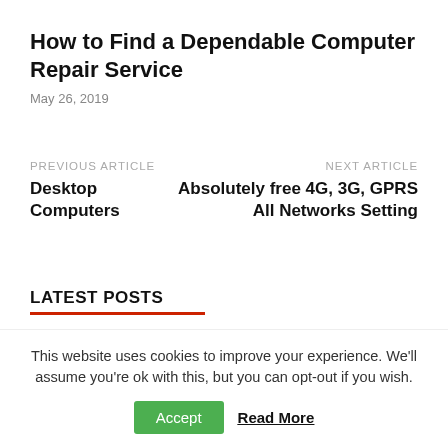How to Find a Dependable Computer Repair Service
May 26, 2019
PREVIOUS ARTICLE
Desktop Computers
NEXT ARTICLE
Absolutely free 4G, 3G, GPRS All Networks Setting
LATEST POSTS
What Determines The Website
This website uses cookies to improve your experience. We'll assume you're ok with this, but you can opt-out if you wish.
Accept   Read More